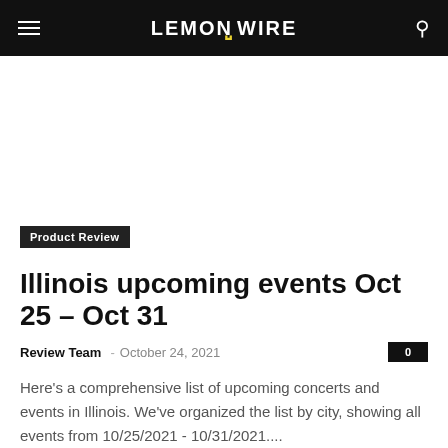LEMON ZZ WIRE
[Figure (other): Advertisement / blank white area]
Product Review
Illinois upcoming events Oct 25 – Oct 31
Review Team – October 24, 2021  0
Here's a comprehensive list of upcoming concerts and events in Illinois. We've organized the list by city, showing all events from 10/25/2021 - 10/31/2021....